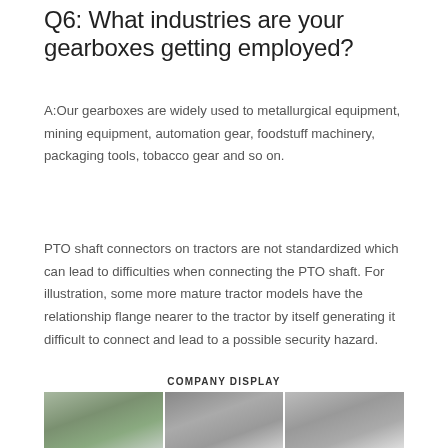Q6: What industries are your gearboxes getting employed?
A:Our gearboxes are widely used to metallurgical equipment, mining equipment, automation gear, foodstuff machinery, packaging tools, tobacco gear and so on.
PTO shaft connectors on tractors are not standardized which can lead to difficulties when connecting the PTO shaft. For illustration, some more mature tractor models have the relationship flange nearer to the tractor by itself generating it difficult to connect and lead to a possible security hazard.
COMPANY DISPLAY
[Figure (photo): Three side-by-side company facility photos showing buildings and equipment]